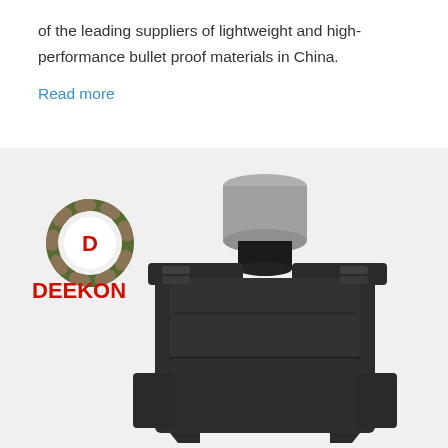of the leading suppliers of lightweight and high-performance bullet proof materials in China.
Read more
[Figure (photo): Product photo of a black bullet proof vest displayed on a mannequin torso, with the DEEKON brand logo (circular camouflage emblem with red D letter) and red DEEKON text in the upper left of the image.]